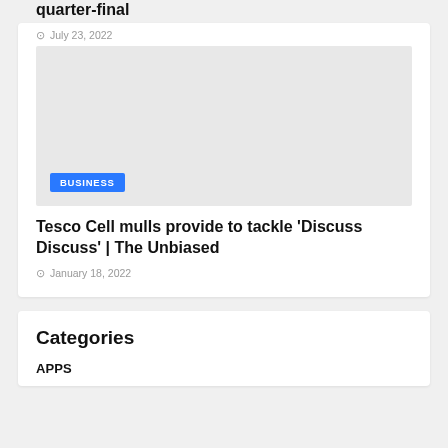quarter-final
July 23, 2022
[Figure (photo): Gray placeholder image with a blue BUSINESS badge in the lower left corner]
Tesco Cell mulls provide to tackle 'Discuss Discuss' | The Unbiased
January 18, 2022
Categories
APPS